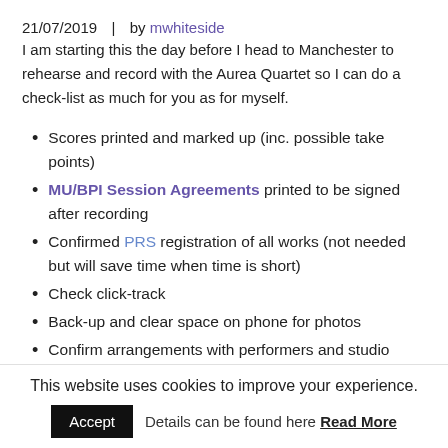21/07/2019  |  by mwhiteside
I am starting this the day before I head to Manchester to rehearse and record with the Aurea Quartet so I can do a check-list as much for you as for myself.
Scores printed and marked up (inc. possible take points)
MU/BPI Session Agreements printed to be signed after recording
Confirmed PRS registration of all works (not needed but will save time when time is short)
Check click-track
Back-up and clear space on phone for photos
Confirm arrangements with performers and studio
That's it I think. At this point it doesn't seem like there is much to do but I
This website uses cookies to improve your experience. Accept  Details can be found here Read More